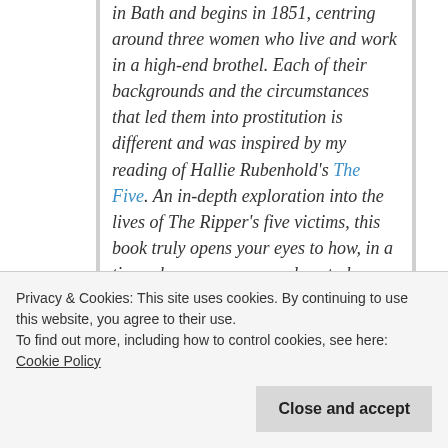in Bath and begins in 1851, centring around three women who live and work in a high-end brothel. Each of their backgrounds and the circumstances that led them into prostitution is different and was inspired by my reading of Hallie Rubenhold's The Five. An in-depth exploration into the lives of The Ripper's five victims, this book truly opens your eyes to how, in a time when women were almost always treated as second-class citizens, circumstances beyond their control meant they had extremely limited choices.

My series opens with A Widow's Vow which is
Privacy & Cookies: This site uses cookies. By continuing to use this website, you agree to their use.
To find out more, including how to control cookies, see here: Cookie Policy